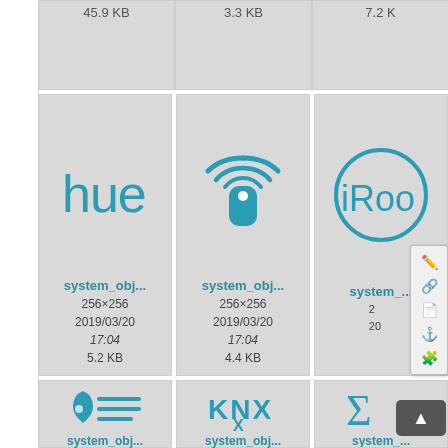[Figure (screenshot): File browser/media manager grid view showing image file thumbnails with metadata. Top partial row shows three files with sizes 45.9 KB, 3.3 KB, 7.2 KB. Middle row shows three icons: Philips Hue logo (system_obj..., 256x256, 2019/03/20 17:04, 5.2 KB), wifi device icon (system_obj..., 256x256, 2019/03/20 17:04, 4.4 KB), iRobot logo partially visible (system_...). Bottom partial row shows water drop + lines icon (system_obj..., 256x256, 2019/03/20), KNX logo (system_obj..., 256x256, 2019/03/20), and sigma icon partially visible (system_..., 256x2..., 2019/0...). A context menu with edit/link/PDF/anchor/plugin icons overlaps the right side. A scroll-to-top button is at bottom right.]